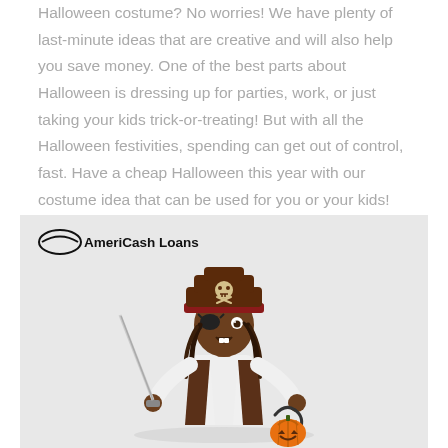Halloween costume? No worries! We have plenty of last-minute ideas that are creative and will also help you save money. One of the best parts about Halloween is dressing up for parties, work, or just taking your kids trick-or-treating! But with all the Halloween festivities, spending can get out of control, fast. Have a cheap Halloween this year with our costume idea that can be used for you or your kids!
[Figure (photo): Child dressed in a pirate costume with a brown tricorn hat, eye patch, vest, holding a toy sword in one hand and an orange pumpkin trick-or-treat basket in the other. The AmeriCash Loans logo appears in the top-left corner of the image.]